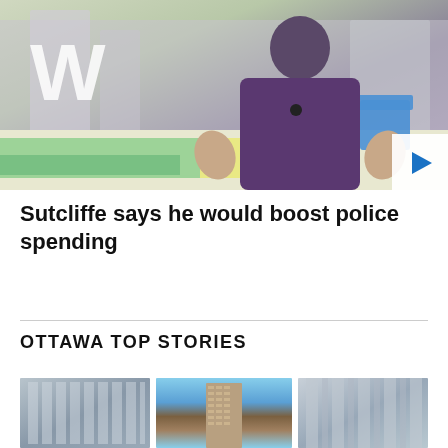[Figure (photo): Video thumbnail showing a man in a purple shirt being interviewed outdoors at what appears to be a public square with a large W sculpture, colorful ground markings, and a blue Adirondack chair in the background. A play button is visible in the bottom-right corner.]
Sutcliffe says he would boost police spending
OTTAWA TOP STORIES
[Figure (photo): Three thumbnail images showing: 1) A glass building exterior, 2) A tall modern condominium tower against a blue sky, 3) Another building exterior with railings.]